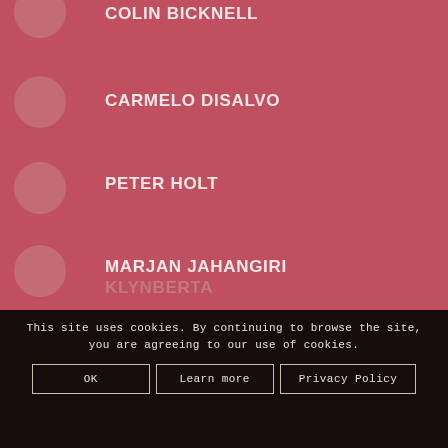COLIN BICKNELL
CARMELO DISALVO
PETER HOLT
MARJAN JAHANGIRI
M JENKINS
This site uses cookies. By continuing to browse the site, you are agreeing to our use of cookies.
OK | Learn more | Privacy Policy